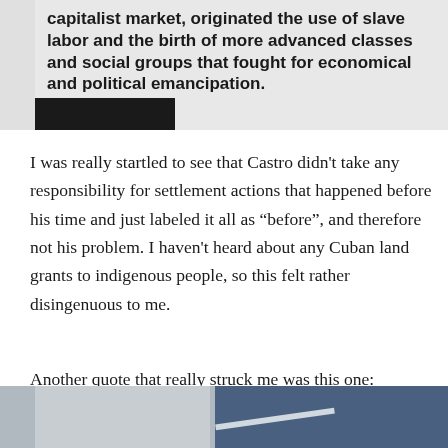[Figure (photo): A photograph of a museum or exhibition panel showing bold text about capitalist market, slave labor, and the birth of more advanced classes and social groups that fought for economical and political emancipation.]
I was really startled to see that Castro didn’t take any responsibility for settlement actions that happened before his time and just labeled it all as “before”, and therefore not his problem. I haven’t heard about any Cuban land grants to indigenous people, so this felt rather disingenuous to me.
Another quote that really struck me was this one:
[Figure (photo): A partial photograph showing what appears to be a document or poster, partially visible at the bottom of the page.]